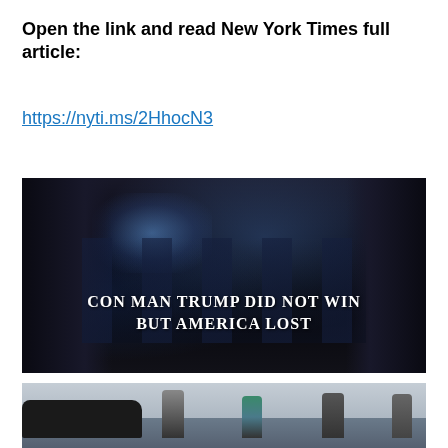Open the link and read New York Times full article:
https://nyti.ms/2HhocN3
[Figure (photo): Dark photo of people inside an airplane cabin with text overlay reading 'CON MAN TRUMP DID NOT WIN BUT AMERICA LOST']
[Figure (photo): Photo of people on an airport tarmac near a dark SUV, appearing to assist someone getting into the vehicle]